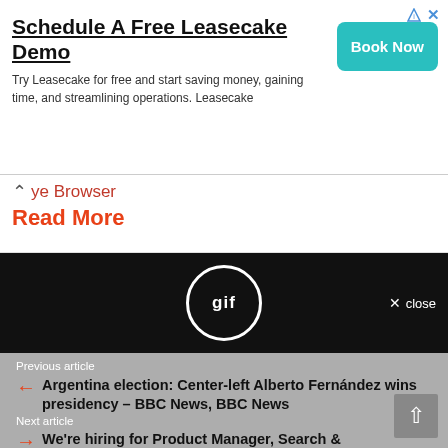[Figure (screenshot): Advertisement banner for Leasecake with 'Book Now' button in teal]
ye Browser
Read More
[Figure (screenshot): Black GIF player bar with circle 'gif' label and 'X close' button]
Previous article
Argentina election: Center-left Alberto Fernández wins presidency – BBC News, BBC News
Next article
We're hiring for Product Manager, Search & Discovery at The Muse, Hacker News